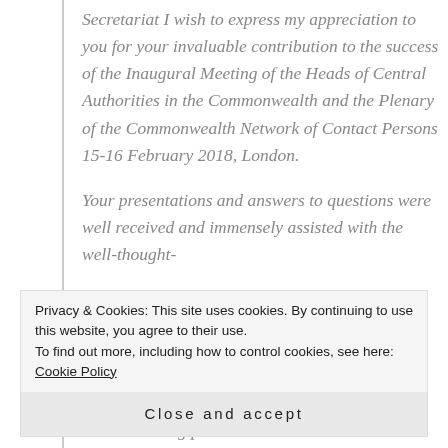Secretariat I wish to express my appreciation to you for your invaluable contribution to the success of the Inaugural Meeting of the Heads of Central Authorities in the Commonwealth and the Plenary of the Commonwealth Network of Contact Persons 15-16 February 2018, London.
Your presentations and answers to questions were well received and immensely assisted with the well-thought-
Privacy & Cookies: This site uses cookies. By continuing to use this website, you agree to their use. To find out more, including how to control cookies, see here: Cookie Policy
Close and accept
and interesting presentations.